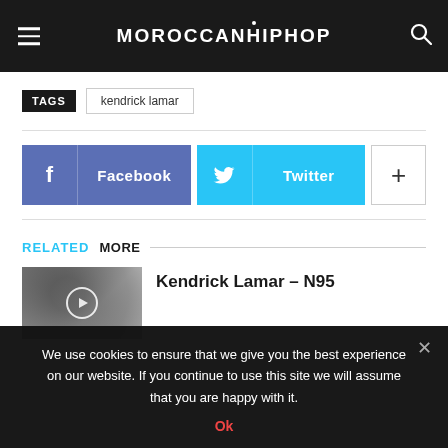MOROCCANHIPHOP
TAGS  kendrick lamar
[Figure (infographic): Facebook and Twitter social share buttons plus a more (+) button]
RELATED MORE
[Figure (photo): Grayscale thumbnail image of Kendrick Lamar with play button overlay]
Kendrick Lamar – N95
We use cookies to ensure that we give you the best experience on our website. If you continue to use this site we will assume that you are happy with it.
Ok